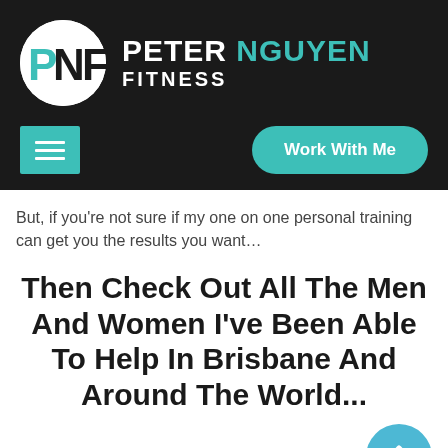[Figure (logo): Peter Nguyen Fitness logo: circular PNF icon in teal on dark background, with text PETER NGUYEN FITNESS]
[Figure (screenshot): Navigation bar with teal hamburger menu button and teal rounded 'Work With Me' button on dark background]
But, if you're not sure if my one on one personal training can get you the results you want…
Then Check Out All The Men And Women I've Been Able To Help In Brisbane And Around The World...
**NOTE** These are not ALL my before and afters.
What you see on my page are results from clients that permit